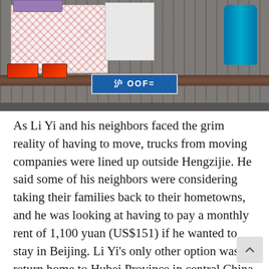[Figure (photo): Back of a moving truck with a patterned cardboard box, metal truck bed slats, tail lights, blue license plate, and a blue gas cylinder visible.]
As Li Yi and his neighbors faced the grim reality of having to move, trucks from moving companies were lined up outside Hengzijie. He said some of his neighbors were considering taking their families back to their hometowns, and he was looking at having to pay a monthly rent of 1,100 yuan (US$151) if he wanted to stay in Beijing. Li Yi's only other option was to return home to Hubei Province in central China to look for work.